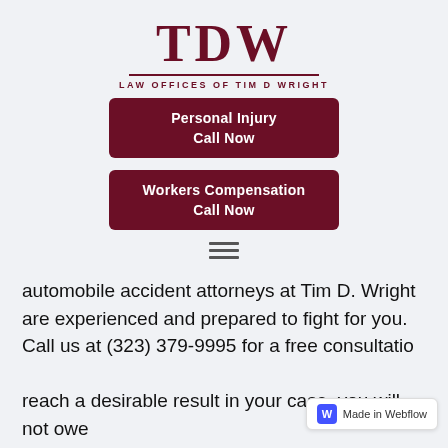[Figure (logo): TDW Law Offices of Tim D Wright logo with large serif TDW text and horizontal rule]
Personal Injury
Call Now
Workers Compensation
Call Now
[Figure (other): Hamburger menu icon (three horizontal lines)]
automobile accident attorneys at Tim D. Wright are experienced and prepared to fight for you. Call us at (323) 379-9995 for a free consultatio... reach a desirable result in your case, you will not owe
[Figure (other): Made in Webflow badge]